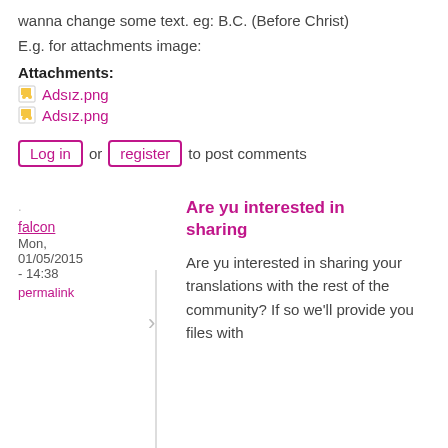wanna change some text. eg: B.C. (Before Christ)
E.g. for attachments image:
Attachments:
Adsız.png
Adsız.png
Log in or register to post comments
falcon
Mon, 01/05/2015 - 14:38
permalink
Are yu interested in sharing
Are yu interested in sharing your translations with the rest of the community? If so we'll provide you files with